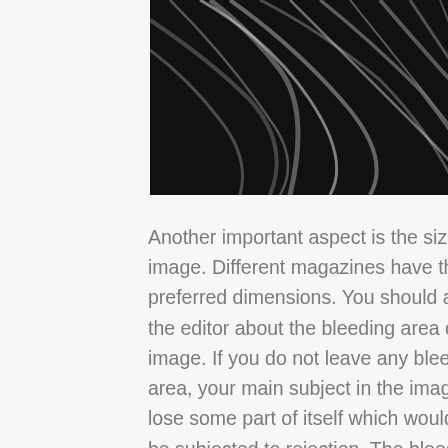[Figure (photo): Black and white close-up photo of flowing hair strands against a dark background]
Another important aspect is the size of the image. Different magazines have their own preferred dimensions. You should also ask the editor about the bleeding area of your image. If you do not leave any bleeding area, your main subject in the image may lose some part of itself which would then be subjected to rejection. The bleeding area is nothing but some